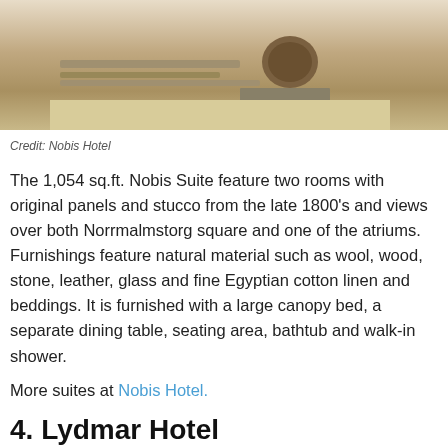[Figure (photo): Interior photo of a hotel suite living area with a glass coffee table, decorative sphere, books, and cream/white area rug on a wood floor]
Credit: Nobis Hotel
The 1,054 sq.ft. Nobis Suite feature two rooms with original panels and stucco from the late 1800’s and views over both Norrmalmstorg square and one of the atriums. Furnishings feature natural material such as wool, wood, stone, leather, glass and fine Egyptian cotton linen and beddings. It is furnished with a large canopy bed, a separate dining table, seating area, bathtub and walk-in shower.
More suites at Nobis Hotel.
4. Lydmar Hotel
[Figure (photo): Bottom partial photo strip of Lydmar Hotel, two images side by side]